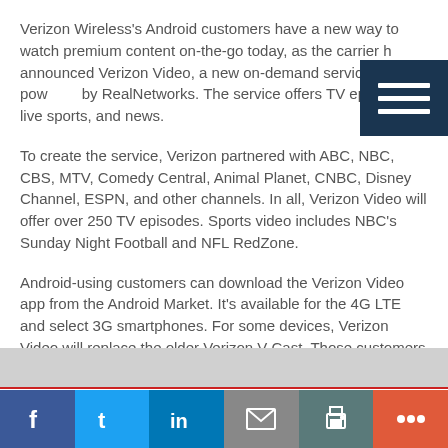Verizon Wireless's Android customers have a new way to watch premium content on-the-go today, as the carrier has announced Verizon Video, a new on-demand service powered by RealNetworks. The service offers TV episodes, live sports, and news.
To create the service, Verizon partnered with ABC, NBC, CBS, MTV, Comedy Central, Animal Planet, CNBC, Disney Channel, ESPN, and other channels. In all, Verizon Video will offer over 250 TV episodes. Sports video includes NBC's Sunday Night Football and NFL RedZone.
Android-using customers can download the Verizon Video app from the Android Market. It's available for the 4G LTE and select 3G smartphones. For some devices, Verizon Video will replace the older Verizon V Cast. Those customers will be given the opportunity to continue their subscription the same d
f  t  in  [email]  [print]  +